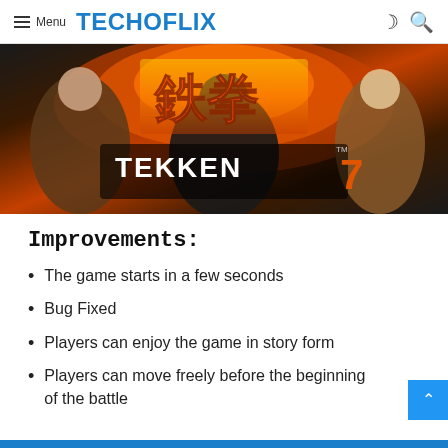Menu TECHOFLIX
[Figure (illustration): Tekken 7 game banner with characters and logo]
Improvements:
The game starts in a few seconds
Bug Fixed
Players can enjoy the game in story form
Players can move freely before the beginning of the battle